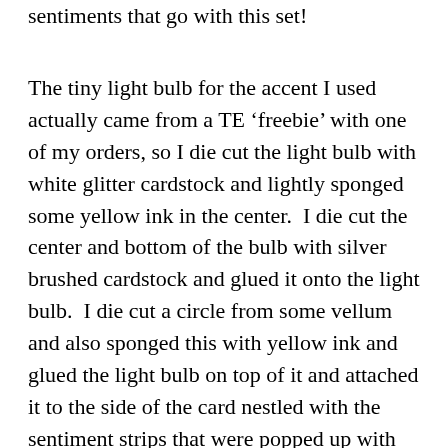sentiments that go with this set!
The tiny light bulb for the accent I used actually came from a TE ‘freebie’ with one of my orders, so I die cut the light bulb with white glitter cardstock and lightly sponged some yellow ink in the center.  I die cut the center and bottom of the bulb with silver brushed cardstock and glued it onto the light bulb.  I die cut a circle from some vellum and also sponged this with yellow ink and glued the light bulb on top of it and attached it to the side of the card nestled with the sentiment strips that were popped up with foam tape.  He will have gotten this one this morning.